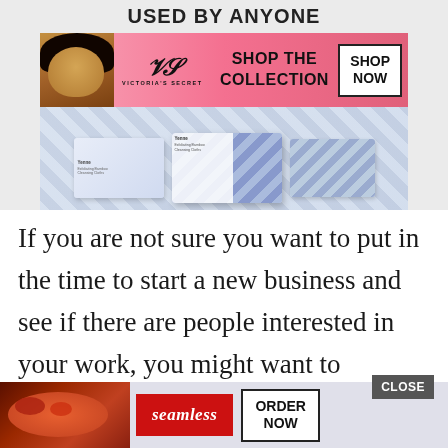[Figure (screenshot): Screenshot of a web page showing a Victoria's Secret advertisement banner with a model, VS logo, 'SHOP THE COLLECTION' text, and 'SHOP NOW' button, above product packages with chevron pattern]
If you are not sure you want to put in the time to start a new business and see if there are people interested in your work, you might want to consider opening an Etsy shop. Creating a…
[Figure (screenshot): CLOSE button overlay and Seamless food delivery ad with pizza image, seamless logo, and ORDER NOW button at the bottom]